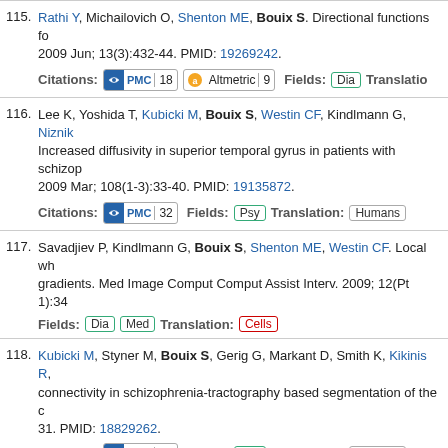115. Rathi Y, Michailovich O, Shenton ME, Bouix S. Directional functions for orientation distribution estimation. 2009 Jun; 13(3):432-44. PMID: 19269242. Citations: PMC 18 Altmetric 9 Fields: Dia Translation:
116. Lee K, Yoshida T, Kubicki M, Bouix S, Westin CF, Kindlmann G, Niznik... Increased diffusivity in superior temporal gyrus in patients with schizophrenia. 2009 Mar; 108(1-3):33-40. PMID: 19135872. Citations: PMC 32 Fields: Psy Translation: Humans
117. Savadjiev P, Kindlmann G, Bouix S, Shenton ME, Westin CF. Local white matter geometry from diffusion tensor gradients. Med Image Comput Comput Assist Interv. 2009; 12(Pt 1):34... Fields: Dia Med Translation: Cells
118. Kubicki M, Styner M, Bouix S, Gerig G, Markant D, Smith K, Kikinis R,... connectivity in schizophrenia-tractography based segmentation of the cingulum bundle. 31. PMID: 18829262. Citations: PMC 41 Fields: Psy Translation: Humans
119. Pohl KM, Bouix S, Nakamura M, Rohlfing T, M... s R,... algorithm for MR brain image parcellation. IEE... ng. 2... Citations: PMC 42 Fields: Dia Translation: Humans